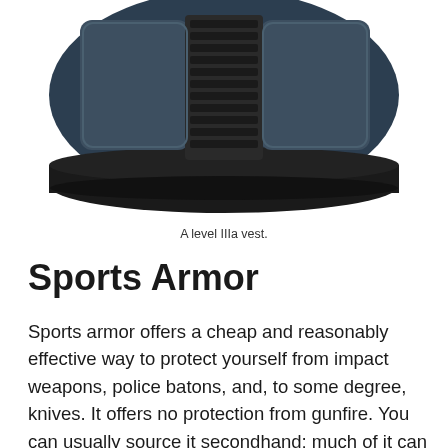[Figure (photo): Bottom portion of a dark navy/black ballistic vest (level IIIa vest) shown from above, with velcro straps and padding panels visible]
A level IIIa vest.
Sports Armor
Sports armor offers a cheap and reasonably effective way to protect yourself from impact weapons, police batons, and, to some degree, knives. It offers no protection from gunfire. You can usually source it secondhand; much of it can be concealed under clothing. It will probably look better in court than ballistic armor. It's legal for more people to wear it—it is less likely to occasion